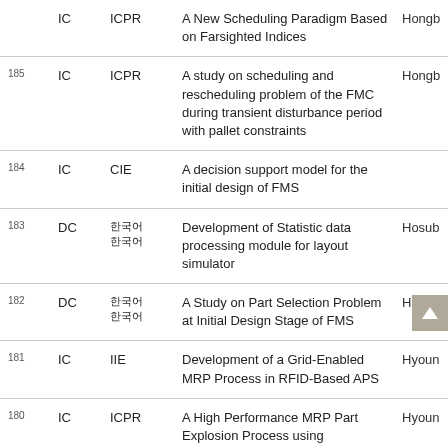| # | Type | Venue | Title | Author |
| --- | --- | --- | --- | --- |
|  | IC | ICPR | A New Scheduling Paradigm Based on Farsighted Indices | Hongb... |
| 185 | IC | ICPR | A study on scheduling and rescheduling problem of the FMC during transient disturbance period with pallet constraints | Hongb... |
| 184 | IC | CIE | A decision support model for the initial design of FMS |  |
| 183 | DC | 한국어텍스트 | Development of Statistic data processing module for layout simulator | Hosub... |
| 182 | DC | 한국어텍스트 | A Study on Part Selection Problem at Initial Design Stage of FMS | Hosub... |
| 181 | IC | IIE | Development of a Grid-Enabled MRP Process in RFID-Based APS | Hyoun... |
| 180 | IC | ICPR | A High Performance MRP Part Explosion Process using Computational Grid in a Distributed Batch... | Hyoun... |